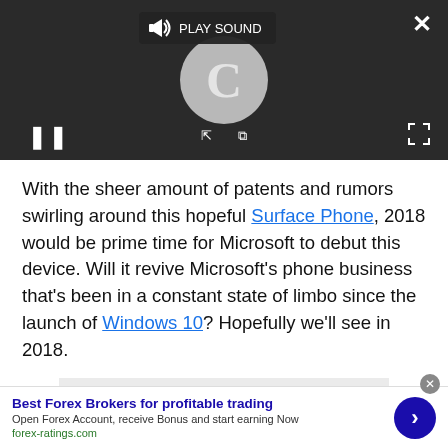[Figure (screenshot): Video player UI with dark background, play sound button, pause button, loading spinner, close and fullscreen icons]
With the sheer amount of patents and rumors swirling around this hopeful Surface Phone, 2018 would be prime time for Microsoft to debut this device. Will it revive Microsoft’s phone business that’s been in a constant state of limbo since the launch of Windows 10? Hopefully we’ll see in 2018.
Advertisement
Best Forex Brokers for profitable trading
Open Forex Account, receive Bonus and start earning Now
forex-ratings.com